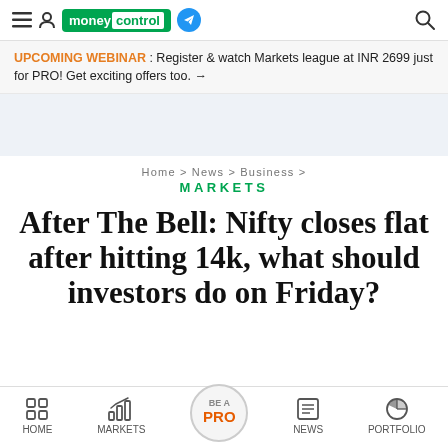moneycontrol
UPCOMING WEBINAR : Register & watch Markets league at INR 2699 just for PRO! Get exciting offers too. →
Home > News > Business > MARKETS
MARKETS
After The Bell: Nifty closes flat after hitting 14k, what should investors do on Friday?
HOME   MARKETS   BE A PRO   NEWS   PORTFOLIO